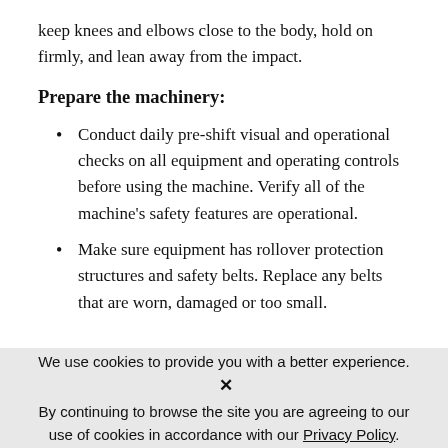keep knees and elbows close to the body, hold on firmly, and lean away from the impact.
Prepare the machinery:
Conduct daily pre-shift visual and operational checks on all equipment and operating controls before using the machine. Verify all of the machine's safety features are operational.
Make sure equipment has rollover protection structures and safety belts. Replace any belts that are worn, damaged or too small.
We use cookies to provide you with a better experience. ✕ By continuing to browse the site you are agreeing to our use of cookies in accordance with our Privacy Policy.